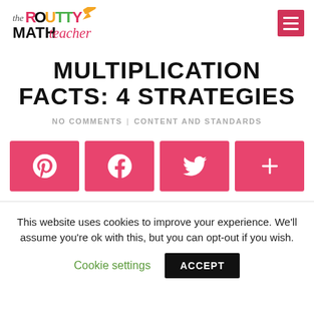The Routty Math Teacher [logo] [hamburger menu]
MULTIPLICATION FACTS: 4 STRATEGIES
NO COMMENTS | CONTENT AND STANDARDS
[Figure (infographic): Four pink/red social sharing buttons: Pinterest, Facebook, Twitter, and a plus/more button]
This website uses cookies to improve your experience. We'll assume you're ok with this, but you can opt-out if you wish.
Cookie settings   ACCEPT